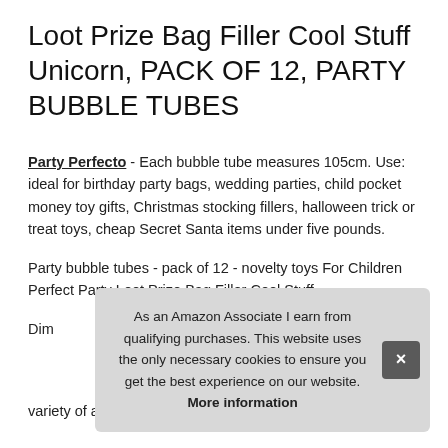Loot Prize Bag Filler Cool Stuff Unicorn, PACK OF 12, PARTY BUBBLE TUBES
Party Perfecto - Each bubble tube measures 105cm. Use: ideal for birthday party bags, wedding parties, child pocket money toy gifts, Christmas stocking fillers, halloween trick or treat toys, cheap Secret Santa items under five pounds.
Party bubble tubes - pack of 12 - novelty toys For Children Perfect Party Loot Prize Bag Filler Cool Stuff.
Dim variety of ages and leaves it to customers to assess whether
As an Amazon Associate I earn from qualifying purchases. This website uses the only necessary cookies to ensure you get the best experience on our website. More information